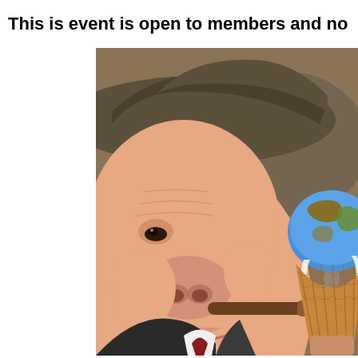This is event is open to members and no
[Figure (illustration): A surrealist illustration of an anthropomorphic pig character wearing a cowboy hat and dark suit, smoking a lit cigar, holding an ice cream cone topped with a melting globe (Earth) showing continents. The image is cropped and extends beyond the page boundaries.]